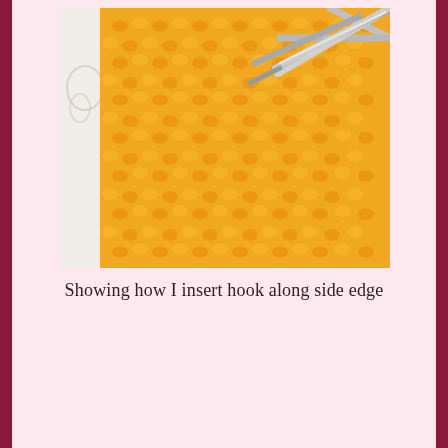[Figure (photo): Close-up photograph of yellow/orange crocheted fabric with a silver crochet hook inserted along the side edge, on a white decorative background.]
Showing how I insert hook along side edge